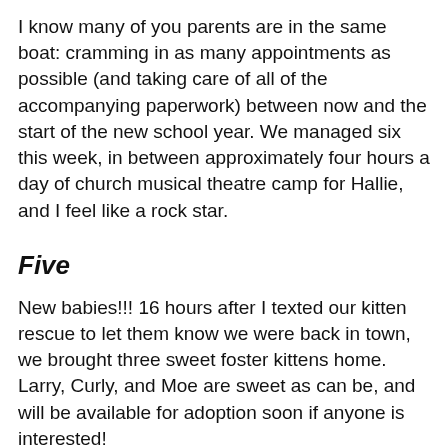I know many of you parents are in the same boat: cramming in as many appointments as possible (and taking care of all of the accompanying paperwork) between now and the start of the new school year. We managed six this week, in between approximately four hours a day of church musical theatre camp for Hallie, and I feel like a rock star.
Five
New babies!!! 16 hours after I texted our kitten rescue to let them know we were back in town, we brought three sweet foster kittens home. Larry, Curly, and Moe are sweet as can be, and will be available for adoption soon if anyone is interested!
[Figure (photo): Photo of a young blond child with eyes closed, lying against a couch or cushion, wearing a blue shirt.]